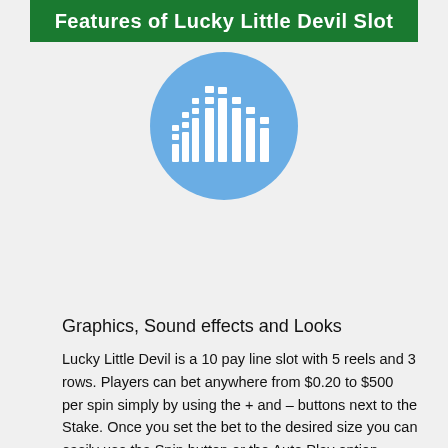Features of Lucky Little Devil Slot
[Figure (illustration): Blue circle icon with white bar chart / equalizer graphic inside]
Graphics, Sound effects and Looks
Lucky Little Devil is a 10 pay line slot with 5 reels and 3 rows. Players can bet anywhere from $0.20 to $500 per spin simply by using the + and – buttons next to the Stake. Once you set the bet to the desired size you can easily use the Spin button or the Auto Play option.
[Figure (illustration): Red/pink circle icon with white card symbols (10, J, Q, K, M) arranged in a circular pattern with a dot in the center]